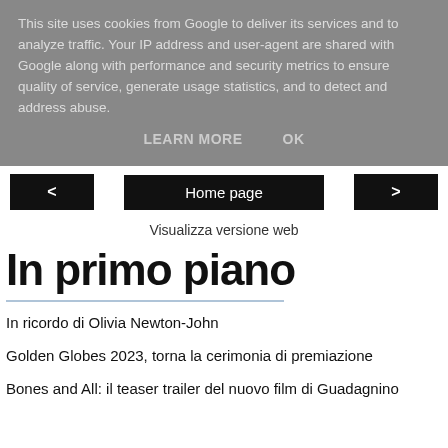This site uses cookies from Google to deliver its services and to analyze traffic. Your IP address and user-agent are shared with Google along with performance and security metrics to ensure quality of service, generate usage statistics, and to detect and address abuse.
LEARN MORE   OK
< Home page >
Visualizza versione web
In primo piano
In ricordo di Olivia Newton-John
Golden Globes 2023, torna la cerimonia di premiazione
Bones and All: il teaser trailer del nuovo film di Guadagnino